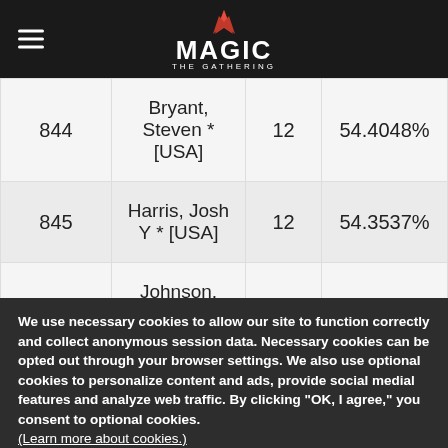Magic: The Gathering
| Rank | Name | Points | Percentage |
| --- | --- | --- | --- |
| 844 | Bryant, Steven * [USA] | 12 | 54.4048% |
| 845 | Harris, Josh Y * [USA] | 12 | 54.3537% |
| 846 | Johnson, Vincent * [USA] | 12 | 54.0816% |
| 847 | Kovalcik, Stephen M * [USA] | 12 | 53.8889% |
We use necessary cookies to allow our site to function correctly and collect anonymous session data. Necessary cookies can be opted out through your browser settings. We also use optional cookies to personalize content and ads, provide social medial features and analyze web traffic. By clicking “OK, I agree,” you consent to optional cookies. (Learn more about cookies.)